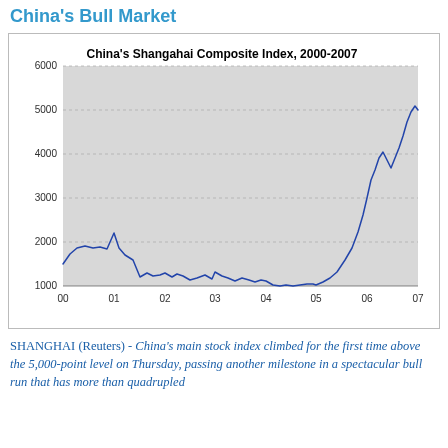China's Bull Market
[Figure (line-chart): China's Shangahai Composite Index, 2000-2007]
SHANGHAI (Reuters) - China's main stock index climbed for the first time above the 5,000-point level on Thursday, passing another milestone in a spectacular bull run that has more than quadrupled